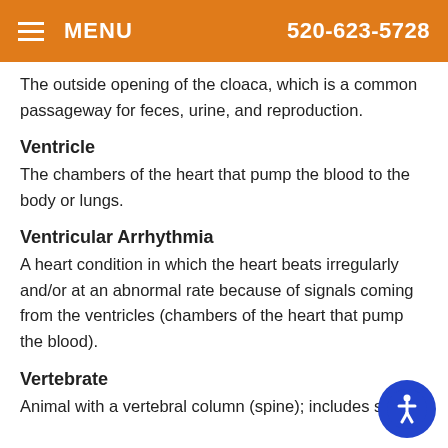MENU   520-623-5728
The outside opening of the cloaca, which is a common passageway for feces, urine, and reproduction.
Ventricle
The chambers of the heart that pump the blood to the body or lungs.
Ventricular Arrhythmia
A heart condition in which the heart beats irregularly and/or at an abnormal rate because of signals coming from the ventricles (chambers of the heart that pump the blood).
Vertebrate
Animal with a vertebral column (spine); includes su...